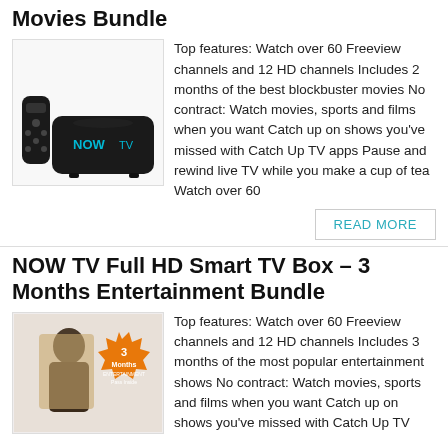Movies Bundle
[Figure (photo): NOW TV Smart Box with remote control]
Top features: Watch over 60 Freeview channels and 12 HD channels Includes 2 months of the best blockbuster movies No contract: Watch movies, sports and films when you want Catch up on shows you've missed with Catch Up TV apps Pause and rewind live TV while you make a cup of tea Watch over 60
READ MORE
NOW TV Full HD Smart TV Box – 3 Months Entertainment Bundle
[Figure (photo): NOW TV Smart Box with 3 Months Entertainment Pass Inside badge]
Top features: Watch over 60 Freeview channels and 12 HD channels Includes 3 months of the most popular entertainment shows No contract: Watch movies, sports and films when you want Catch up on shows you've missed with Catch Up TV